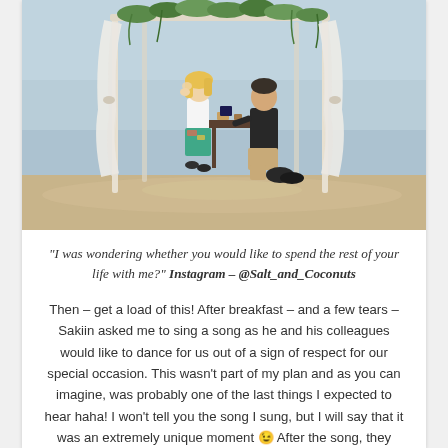[Figure (photo): A man kneeling on one knee proposing to a woman under a white draped canopy decorated with greenery, on a sandy beach/riverside setting. The woman appears surprised, holding her face. A table with items is visible in the background.]
“I was wondering whether you would like to spend the rest of your life with me?” Instagram – @Salt_and_Coconuts
Then – get a load of this! After breakfast – and a few tears – Sakiin asked me to sing a song as he and his colleagues would like to dance for us out of a sign of respect for our special occasion. This wasn’t part of my plan and as you can imagine, was probably one of the last things I expected to hear haha! I won’t tell you the song I sung, but I will say that it was an extremely unique moment 😉 After the song, they